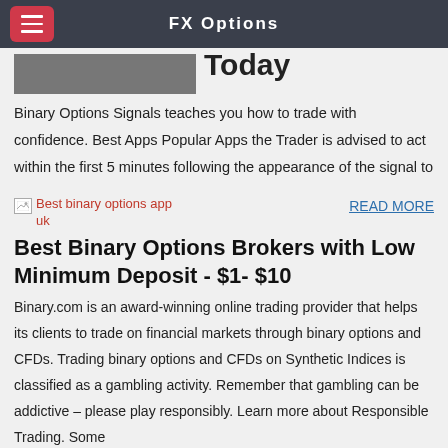FX Options
Today
Binary Options Signals teaches you how to trade with confidence. Best Apps Popular Apps the Trader is advised to act within the first 5 minutes following the appearance of the signal to
[Figure (photo): Broken image placeholder with alt text 'Best binary options app uk']
READ MORE
Best Binary Options Brokers with Low Minimum Deposit - $1- $10
Binary.com is an award-winning online trading provider that helps its clients to trade on financial markets through binary options and CFDs. Trading binary options and CFDs on Synthetic Indices is classified as a gambling activity. Remember that gambling can be addictive – please play responsibly. Learn more about Responsible Trading. Some